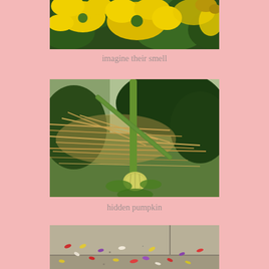[Figure (photo): Close-up photograph of bright yellow flowers with green leaves in the background]
imagine their smell
[Figure (photo): Photograph of a garden scene with dry grass/straw, green plant stems, and a hidden small pumpkin growing near the ground]
hidden pumpkin
[Figure (photo): Photograph of sandy ground or pavement with scattered colorful flower petals]